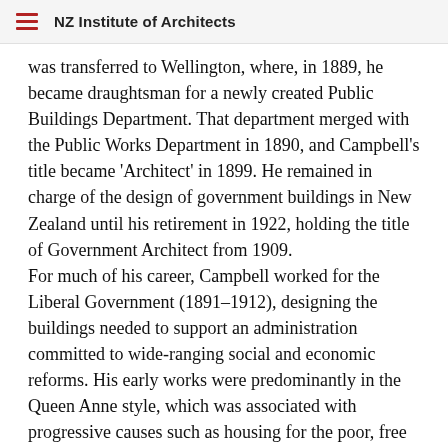NZ Institute of Architects
was transferred to Wellington, where, in 1889, he became draughtsman for a newly created Public Buildings Department. That department merged with the Public Works Department in 1890, and Campbell's title became 'Architect' in 1899. He remained in charge of the design of government buildings in New Zealand until his retirement in 1922, holding the title of Government Architect from 1909.
For much of his career, Campbell worked for the Liberal Government (1891–1912), designing the buildings needed to support an administration committed to wide-ranging social and economic reforms. His early works were predominantly in the Queen Anne style, which was associated with progressive causes such as housing for the poor, free public education and votes for women. Increasingly, and especially in the 20th century, his works were Edwardian Baroque, a style architects promoted as distinctly British and reflective of New Zealand's strong